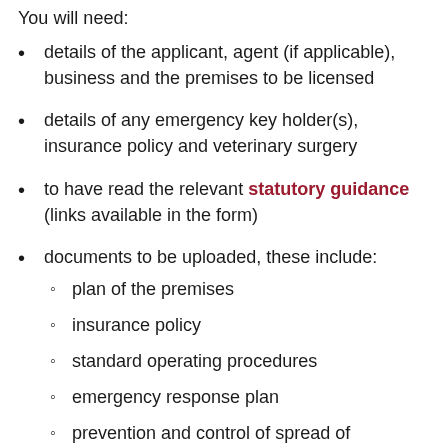You will need:
details of the applicant, agent (if applicable), business and the premises to be licensed
details of any emergency key holder(s), insurance policy and veterinary surgery
to have read the relevant statutory guidance (links available in the form)
documents to be uploaded, these include:
plan of the premises
insurance policy
standard operating procedures
emergency response plan
prevention and control of spread of